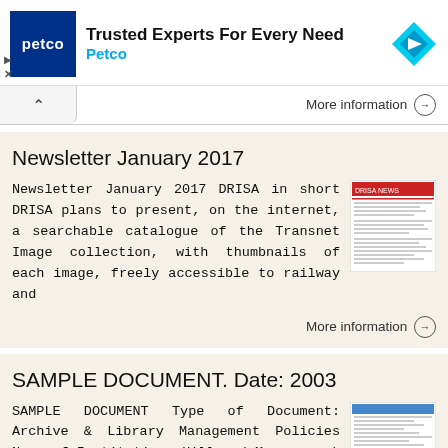[Figure (other): Petco advertisement banner with logo, text 'Trusted Experts For Every Need Petco', and a blue diamond navigation icon]
More information →
Newsletter January 2017
Newsletter January 2017 DRISA in short DRISA plans to present, on the internet, a searchable catalogue of the Transnet Image collection, with thumbnails of each image, freely accessible to railway and
More information →
SAMPLE DOCUMENT. Date: 2003
SAMPLE DOCUMENT Type of Document: Archive & Library Management Policies Name of Institution: Hillwood Museum and